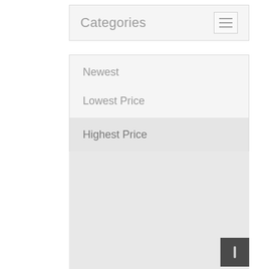Categories
Newest
Lowest Price
Highest Price
[Figure (screenshot): Empty grey content area placeholder below the dropdown menu]